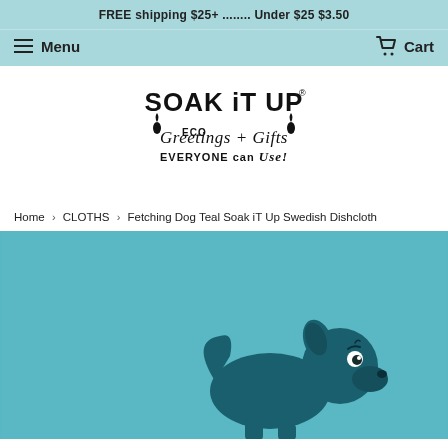FREE shipping $25+ ........ Under $25 $3.50
Menu   Cart
[Figure (logo): Soak iT Up logo — ECO Greetings + Gifts, EVERYONE can Use!]
Home › CLOTHS › Fetching Dog Teal Soak iT Up Swedish Dishcloth
[Figure (photo): Teal Swedish dishcloth with a dark teal fetching dog illustration on a light teal textured background]